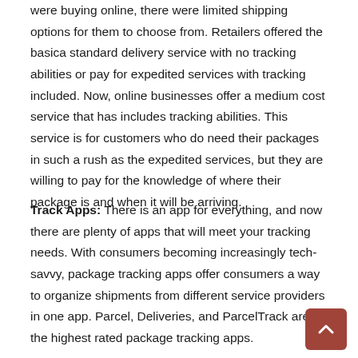were buying online, there were limited shipping options for them to choose from. Retailers offered the basica standard delivery service with no tracking abilities or pay for expedited services with tracking included. Now, online businesses offer a medium cost service that has includes tracking abilities. This service is for customers who do need their packages in such a rush as the expedited services, but they are willing to pay for the knowledge of where their package is and when it will be arriving.
Track Apps: There is an app for everything, and now there are plenty of apps that will meet your tracking needs. With consumers becoming increasingly tech-savvy, package tracking apps offer consumers a way to organize shipments from different service providers in one app. Parcel, Deliveries, and ParcelTrack are the highest rated package tracking apps.